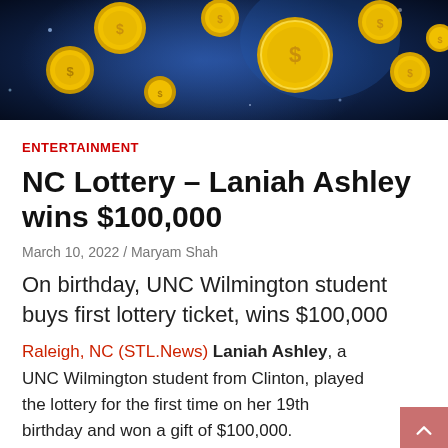[Figure (photo): Hero image of gold coins floating on a dark blue background with light effects]
ENTERTAINMENT
NC Lottery – Laniah Ashley wins $100,000
March 10, 2022 / Maryam Shah
On birthday, UNC Wilmington student buys first lottery ticket, wins $100,000
Raleigh, NC (STL.News) Laniah Ashley, a UNC Wilmington student from Clinton, played the lottery for the first time on her 19th birthday and won a gift of $100,000.